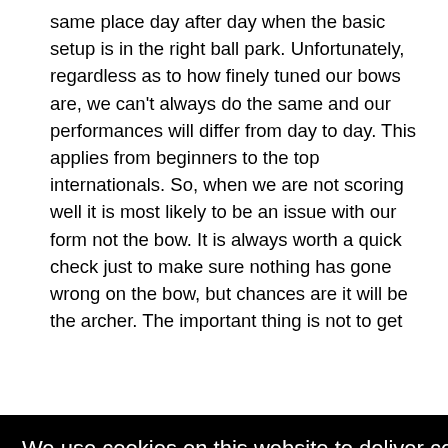same place day after day when the basic setup is in the right ball park. Unfortunately, regardless as to how finely tuned our bows are, we can't always do the same and our performances will differ from day to day. This applies from beginners to the top internationals. So, when we are not scoring well it is most likely to be an issue with our form not the bow. It is always worth a quick check just to make sure nothing has gone wrong on the bow, but chances are it will be the archer. The important thing is not to get
We use cookies on this website to deliver content to you, personalise content and ads, provide social media features, and analyse our traffic. Click 'I accept' to consent to the use of cookies. More information on cookies and how to manage them click here
I Accept